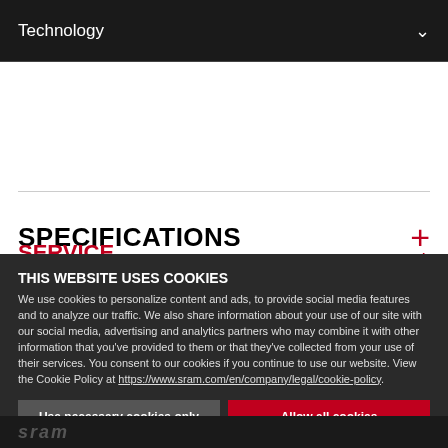Technology
SPECIFICATIONS
SERVICE
THIS WEBSITE USES COOKIES
We use cookies to personalize content and ads, to provide social media features and to analyze our traffic. We also share information about your use of our site with our social media, advertising and analytics partners who may combine it with other information that you've provided to them or that they've collected from your use of their services. You consent to our cookies if you continue to use our website. View the Cookie Policy at https://www.sram.com/en/company/legal/cookie-policy.
Use necessary cookies only
Allow all cookies
Show details